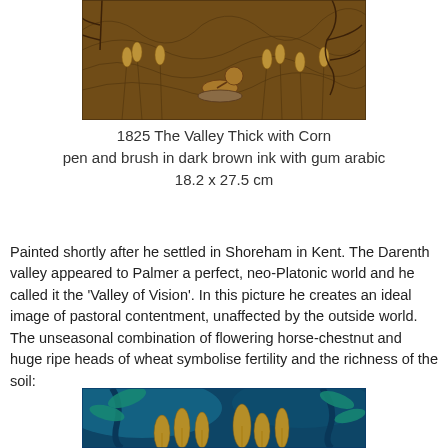[Figure (illustration): A sepia/brown toned illustration showing a pastoral scene with a figure resting among dense foliage and wheat, pen and brush artwork in dark brown ink.]
1825 The Valley Thick with Corn
pen and brush in dark brown ink with gum arabic
18.2 x 27.5 cm
Painted shortly after he settled in Shoreham in Kent. The Darenth valley appeared to Palmer a perfect, neo-Platonic world and he called it the 'Valley of Vision'. In this picture he creates an ideal image of pastoral contentment, unaffected by the outside world. The unseasonal combination of flowering horse-chestnut and huge ripe heads of wheat symbolise fertility and the richness of the soil:
[Figure (illustration): A colorful illustration with blue, teal, and gold tones showing a close-up of nature scene with wheat or corn foliage.]